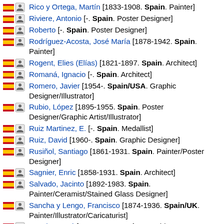Rico y Ortega, Martin [1833-1908. Spain. Painter]
Riviere, Antonio [-. Spain. Poster Designer]
Roberto [-. Spain. Poster Designer]
Rodríguez-Acosta, José María [1878-1942. Spain. Painter]
Rogent, Elies (Elías) [1821-1897. Spain. Architect]
Romaná, Ignacio [-. Spain. Architect]
Romero, Javier [1954-. Spain/USA. Graphic Designer/Illustrator]
Rubio, López [1895-1955. Spain. Poster Designer/Graphic Artist/Illustrator]
Ruiz Martinez, E. [-. Spain. Medallist]
Ruiz, David [1960-. Spain. Graphic Designer]
Rusiñol, Santiago [1861-1931. Spain. Painter/Poster Designer]
Sagnier, Enric [1858-1931. Spain. Architect]
Salvado, Jacinto [1892-1983. Spain. Painter/Ceramist/Stained Glass Designer]
Sancha y Lengo, Francisco [1874-1936. Spain/UK. Painter/Illustrator/Caricaturist]
Sancha, José [1908-1994. Spain. Graphic Designer/Illustrator/Graphic Designer]
Sanguinetti, Alfredo [-. Spain. Sculptor]